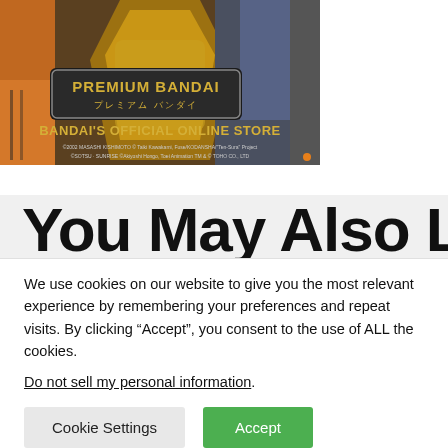[Figure (screenshot): Premium Bandai advertisement banner showing anime figures including a character in orange jumpsuit and a golden robot/mecha. Text reads 'PREMIUM BANDAI' in English and Japanese katakana, and 'BANDAI'S OFFICIAL ONLINE STORE' in yellow text. Copyright notices at bottom reference 2002 MASASHI KISHIMOTO, Taiki Kawakami, Fuse/KODANSHA, Ten-Sura Project, SOTSU, SUNRISE, Akiyoshi Hongo, Toei Animation TM & TOHO CO., LTD.]
You May Also Like
We use cookies on our website to give you the most relevant experience by remembering your preferences and repeat visits. By clicking “Accept”, you consent to the use of ALL the cookies.
Do not sell my personal information.
Cookie Settings
Accept